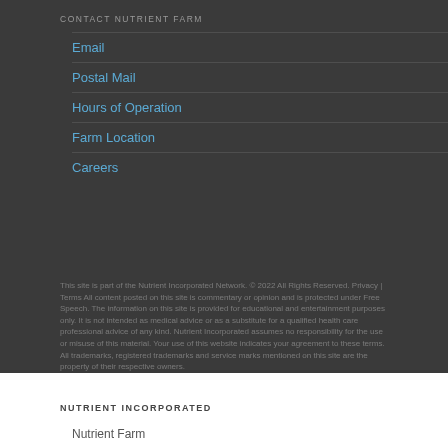CONTACT NUTRIENT FARM
Email
Postal Mail
Hours of Operation
Farm Location
Careers
This site is part of the Nutrient Incorporated Network. © 2022 All Rights Reserved. Privacy | Terms All content posted on this site is commentary or opinion and is protected under Free Speech. The information on this site is provided for educational and entertainment purposes only. It is not intended as medical advice or as a substitute for a qualified health care professional advice of any kind. Nutrient Incorporated assumes no responsibility for the use or misuse of this material. Your use of this website indicates your agreement to these terms. All trademarks, registered trademarks and service marks mentioned on this site are the property of their respective owners.
NUTRIENT INCORPORATED
Nutrient Farm
Nutrient Energy